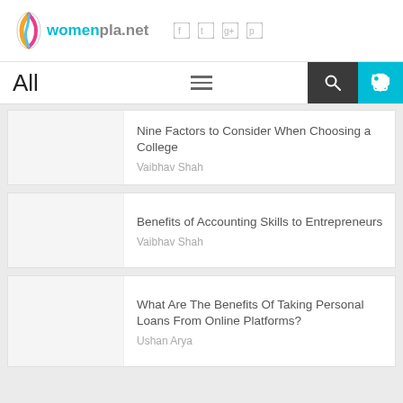womenplanet - All
All
Nine Factors to Consider When Choosing a College - Vaibhav Shah
Benefits of Accounting Skills to Entrepreneurs - Vaibhav Shah
What Are The Benefits Of Taking Personal Loans From Online Platforms? - Ushan Arya